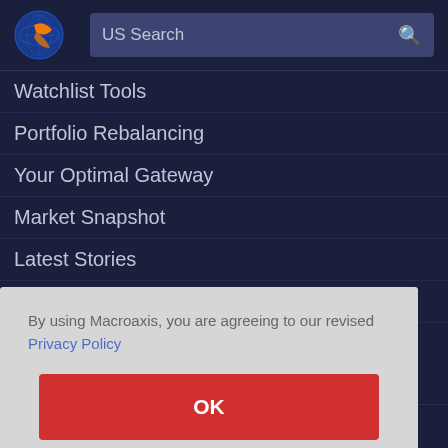[Figure (logo): Macroaxis globe logo with orange and blue colors]
US Search
Watchlist Tools
Portfolio Rebalancing
Your Optimal Gateway
Market Snapshot
Latest Stories
Advertise With Us
By using Macroaxis, you are agreeing to our revised Privacy Policy
OK
Home